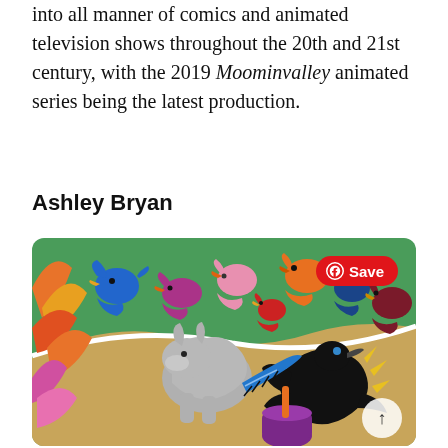into all manner of comics and animated television shows throughout the 20th and 21st century, with the 2019 Moominvalley animated series being the latest production.
Ashley Bryan
[Figure (illustration): Colorful folk-art style illustration showing stylized birds and animals in vivid colors — blue, red, orange, purple, green, pink — with a black crow/raven holding a blue feather/quill, a grey animal, and a purple pot with an orange stick. A red Pinterest 'Save' button overlay is visible in the top-right corner, and a scroll-to-top button in the bottom-right.]